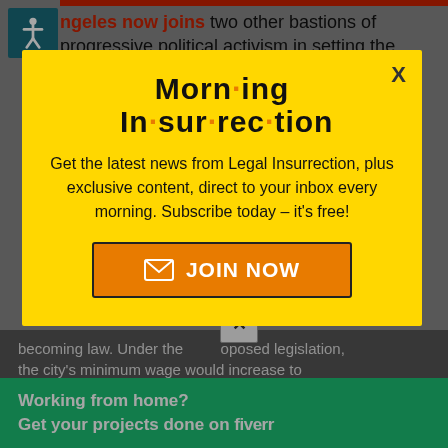Los Angeles now joins two other bastions of progressive political activism in setting the new minimum wage level to $15/hour.
[Figure (infographic): Morning Insurrection newsletter popup/modal with yellow background, title 'Morn·ing In·sur·rec·tion', body text 'Get the latest news from Legal Insurrection, plus exclusive content, direct to your inbox every morning. Subscribe today – it's free!', and an orange JOIN NOW button]
becoming law. Under the proposed legislation, the city's minimum wage would increase to $1... incrementally every year until it reaches $15 in
[Figure (infographic): Fiverr green banner: 'Working from home? Get your projects done on fiverr']